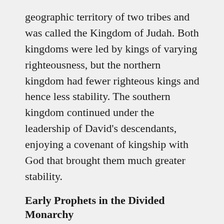geographic territory of two tribes and was called the Kingdom of Judah. Both kingdoms were led by kings of varying righteousness, but the northern kingdom had fewer righteous kings and hence less stability. The southern kingdom continued under the leadership of David's descendants, enjoying a covenant of kingship with God that brought them much greater stability.
Early Prophets in the Divided Monarchy
For most of the early history of the Kingdom of Judah they vacillated between somewhat righteous and somewhat wicked rulers. The Kingdom of Israel put themselves through a different pattern of events. While their first king seems to have begun with good intents, he very quickly led his kingdom into idolatry. Years of turmoil and wickedness